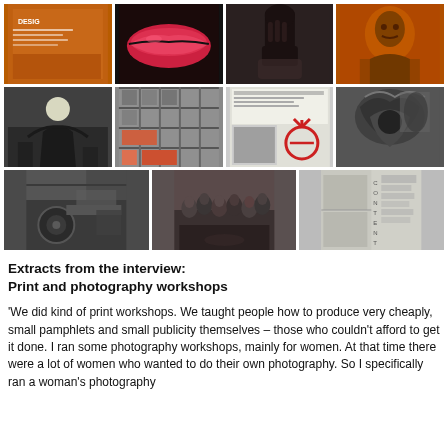[Figure (photo): Grid of 11 black-and-white and orange-toned photographs showing pamphlets, protest imagery, lips, fists, shelves, a moon silhouette, newsletter pages, artwork, factory machinery, a group photo, and a contents page layout.]
Extracts from the interview:
Print and photography workshops
'We did kind of print workshops. We taught people how to produce very cheaply, small pamphlets and small publicity themselves – those who couldn't afford to get it done. I ran some photography workshops, mainly for women. At that time there were a lot of women who wanted to do their own photography. So I specifically ran a woman's photography